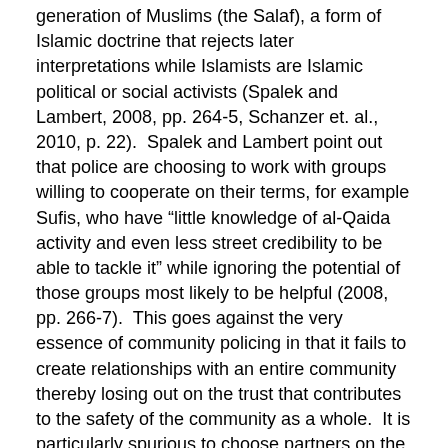generation of Muslims (the Salaf), a form of Islamic doctrine that rejects later interpretations while Islamists are Islamic political or social activists (Spalek and Lambert, 2008, pp. 264-5, Schanzer et. al., 2010, p. 22).  Spalek and Lambert point out that police are choosing to work with groups willing to cooperate on their terms, for example Sufis, who have “little knowledge of al-Qaida activity and even less street credibility to be able to tackle it” while ignoring the potential of those groups most likely to be helpful (2008, pp. 266-7).  This goes against the very essence of community policing in that it fails to create relationships with an entire community thereby losing out on the trust that contributes to the safety of the community as a whole.  It is particularly spurious to choose partners on the basis of “moderancy” when surveys have estimated that in the UK 91% of Muslims as a whole disagree with UK government foreign policy (Spalek, 2010, p. 805).
Conclusion:  The Future of Community Policing for Counterterrorism